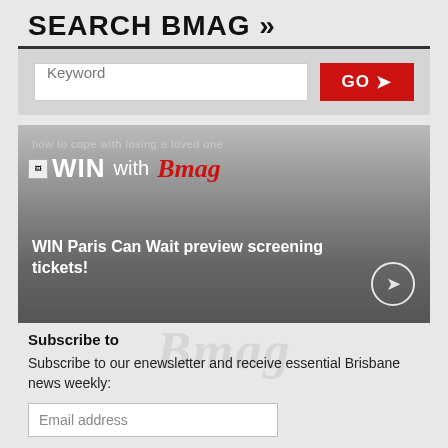SEARCH BMAG »
[Figure (screenshot): Search bar with keyword input field and red GO button with arrow]
[Figure (infographic): WIN with Bmag banner showing 'WIN Paris Can Wait preview screening tickets!' with circular arrow button]
Subscribe to
Subscribe to our enewsletter and receive essential Brisbane news weekly:
[Figure (screenshot): Email address input field]